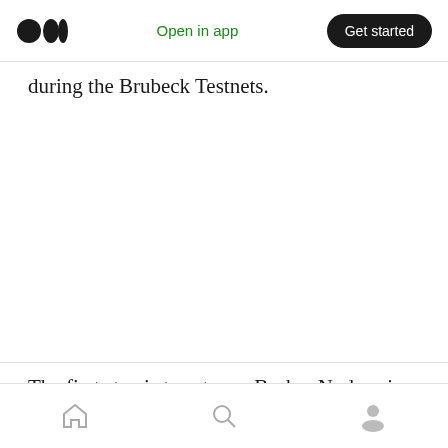Open in app | Get started
during the Brubeck Testnets.
The first step is to set up a Broker Node using
[home] [search] [profile]